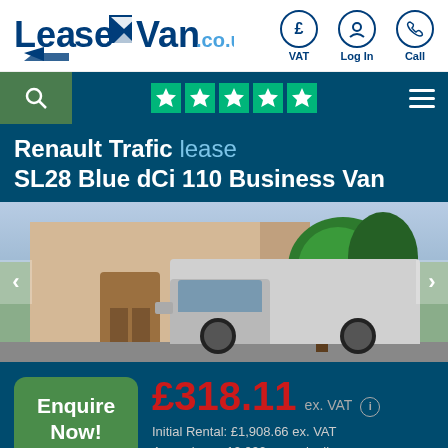[Figure (logo): LeaseVan.co.uk logo with blue text and van icon]
[Figure (infographic): Navigation icons: VAT (pound sign circle), Log In (person circle), Call (phone circle)]
[Figure (infographic): Navigation bar with search icon (green area), 5 green Trustpilot stars, and hamburger menu]
Renault Trafic lease SL28 Blue dCi 110 Business Van
[Figure (photo): White Renault Trafic van parked outside a building with trees in background, with left/right navigation arrows]
£318.11 ex. VAT
Initial Rental: £1,908.66 ex. VAT
4 year lease 10,000 annual mileage